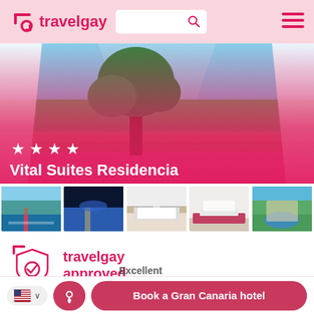travelgay
[Figure (photo): Hotel exterior/terrace view with white curtains, large tree, stone wall, and resort landscape in background. Pink gradient overlay at bottom showing 4 stars and hotel name.]
Vital Suites Residencia
[Figure (photo): 5 thumbnail images of hotel: pool area, illuminated pool at night, bedroom suite, living room, aerial resort view]
[Figure (logo): TravelGay Approved badge logo in pink]
travelgay approved
Av. de Gran Canaria 80, Playa del Ingles, Gran Canaria
Book a Gran Canaria hotel